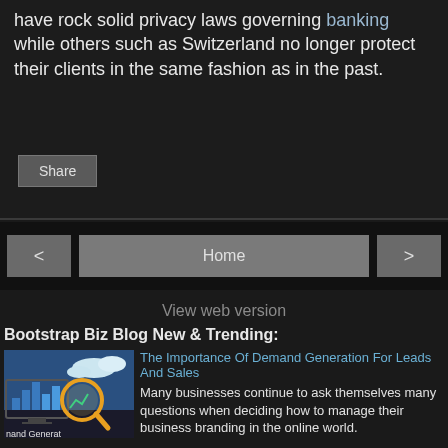have rock solid privacy laws governing banking while others such as Switzerland no longer protect their clients in the same fashion as in the past.
Share
< Home >
View web version
Bootstrap Biz Blog New & Trending:
[Figure (photo): Thumbnail image for a demand generation article, showing a magnifying glass over charts and graphs with text 'nand Generat' at the bottom]
The Importance Of Demand Generation For Leads And Sales
Many businesses continue to ask themselves many questions when deciding how to manage their business branding in the online world.